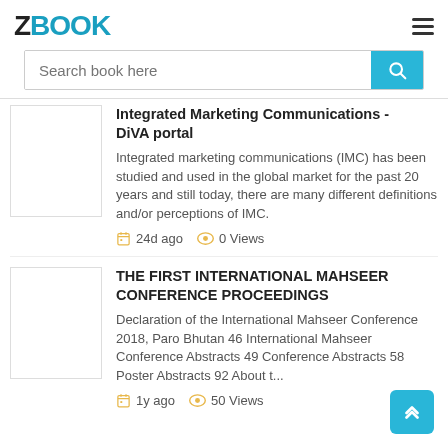ZBOOK
Search book here
Integrated Marketing Communications - DiVA portal
Integrated marketing communications (IMC) has been studied and used in the global market for the past 20 years and still today, there are many different definitions and/or perceptions of IMC.
24d ago   0 Views
THE FIRST INTERNATIONAL MAHSEER CONFERENCE PROCEEDINGS
Declaration of the International Mahseer Conference 2018, Paro Bhutan 46 International Mahseer Conference Abstracts 49 Conference Abstracts 58 Poster Abstracts 92 About t...
1y ago   50 Views